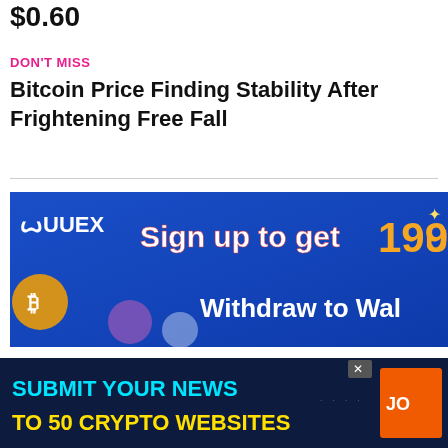$0.60
DON'T MISS
Bitcoin Price Finding Stability After Frightening Free Fall
[Figure (infographic): UUEX advertisement banner: Sign up to get 199U, Withdraw to Wallet. Blue background with crypto coins.]
YOU MAY LIKE
CLICK TO COMMENT
[Figure (infographic): Dark blue banner: SUBMIT YOUR NEWS TO 50 CRYPTO WEBSITES with orange JOIN button on right and close X button.]